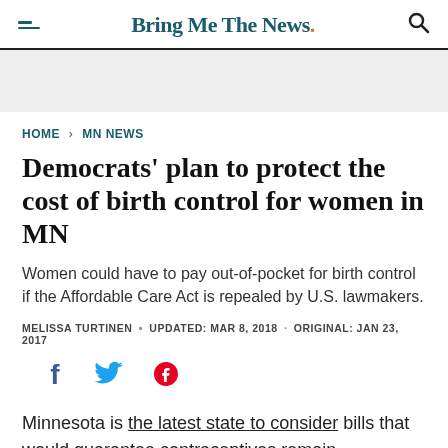Bring Me The News.
[Figure (other): Gray advertisement banner area]
HOME › MN NEWS
Democrats' plan to protect the cost of birth control for women in MN
Women could have to pay out-of-pocket for birth control if the Affordable Care Act is repealed by U.S. lawmakers.
MELISSA TURTINEN • UPDATED: MAR 8, 2018 · ORIGINAL: JAN 23, 2017
[Figure (other): Social share icons: Facebook, Twitter, Pinterest]
Minnesota is the latest state to consider bills that would guarantee contraceptives remain